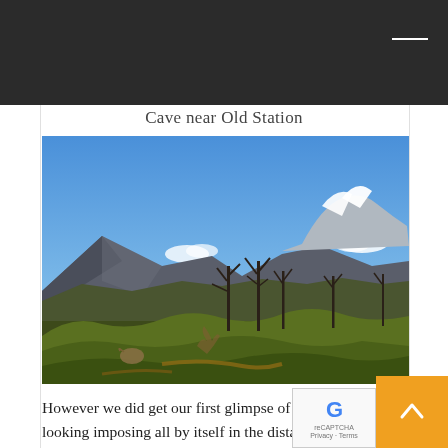Cave near Old Station
[Figure (photo): Landscape photograph showing a panoramic mountain view with Mt. Shasta visible in the distance, dead standing trees in the middle ground, green shrubs in the foreground, and a clear blue sky with some clouds.]
However we did get our first glimpse of Mt Shasta looking imposing all by itself in the distance. The trailhead early on the rim had binoculars which we